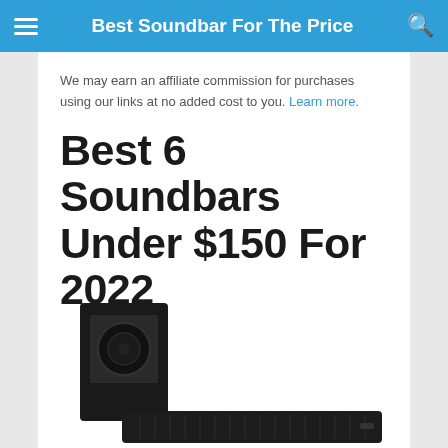Best Soundbar For The Price
We may earn an affiliate commission for purchases using our links at no added cost to you. Learn more.
Best 6 Soundbars Under $150 For 2022
[Figure (photo): Photo of a black soundbar and subwoofer speaker system against a white background]